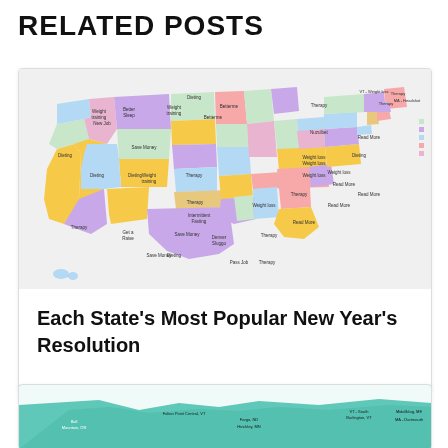RELATED POSTS
[Figure (map): Colorful US map showing each state's most popular New Year's resolution, with states labeled and colored by resolution category (weight loss, therapy, dieting, save money, etc.)]
Each State’s Most Popular New Year’s Resolution
[Figure (map): Partial view of another colorful US map at the bottom of the page, showing city/state labels in teal/mint color scheme]